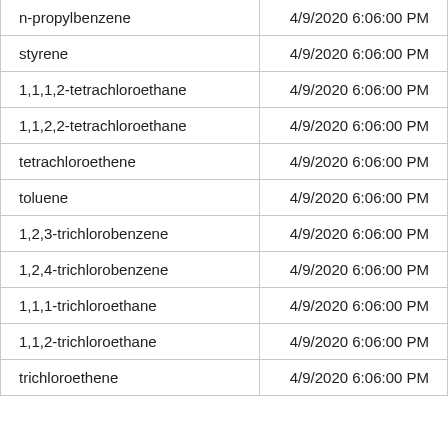| Substance | Date |
| --- | --- |
| n-propylbenzene | 4/9/2020 6:06:00 PM |
| styrene | 4/9/2020 6:06:00 PM |
| 1,1,1,2-tetrachloroethane | 4/9/2020 6:06:00 PM |
| 1,1,2,2-tetrachloroethane | 4/9/2020 6:06:00 PM |
| tetrachloroethene | 4/9/2020 6:06:00 PM |
| toluene | 4/9/2020 6:06:00 PM |
| 1,2,3-trichlorobenzene | 4/9/2020 6:06:00 PM |
| 1,2,4-trichlorobenzene | 4/9/2020 6:06:00 PM |
| 1,1,1-trichloroethane | 4/9/2020 6:06:00 PM |
| 1,1,2-trichloroethane | 4/9/2020 6:06:00 PM |
| trichloroethene | 4/9/2020 6:06:00 PM |